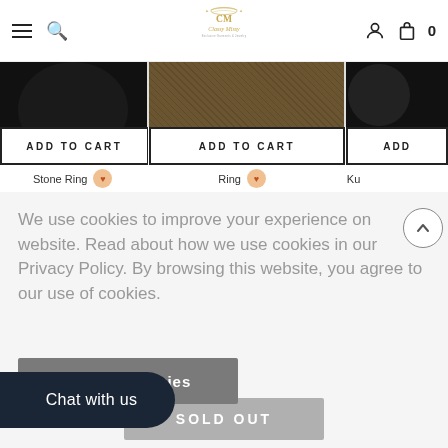Classy Missy - header with hamburger menu, search, logo, user icon, cart (0)
[Figure (screenshot): Product listing strip showing three product images (black beret/hat, brown textured fabric ring, partial dark item) with ADD TO CART buttons and product labels: Stone Ring, Ring, Ku...]
We use cookies to improve your experience on website. Read about how we use cookies in our Privacy Policy. By browsing this website, you agree to our use of cookies.
Accept Cookies
Chat with us
SOLD OUT